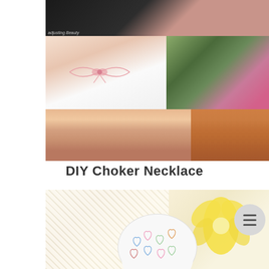[Figure (photo): Collage of three photos showing a woman wearing a pink bow choker necklace, with flower background on right side, on a white blog-style page]
DIY Choker Necklace
[Figure (photo): Craft/DIY photo showing a round white object decorated with colorful heart-shaped leopard print patterns, with yellow flowers on lace fabric background]